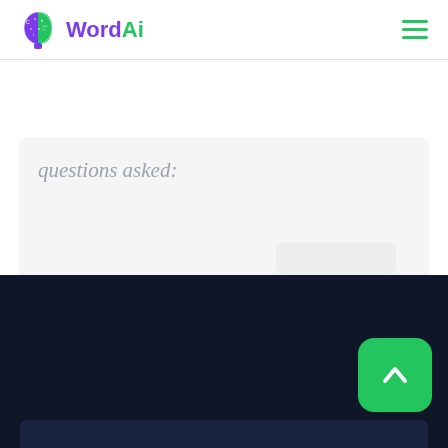[Figure (logo): WordAi logo with stylized brain/head icon in purple and green, and WordAi text where Word is purple and Ai is green]
questions asked:
[Figure (other): Dark navy footer section of the WordAi website with a green scroll-to-top chevron button in the bottom right corner]